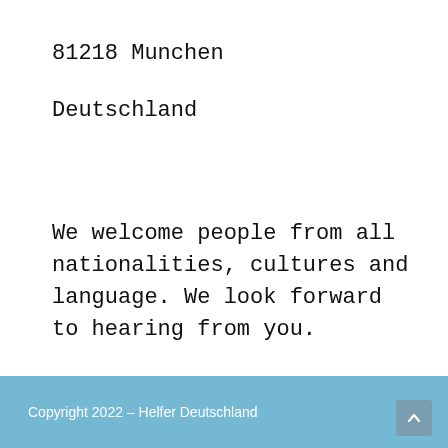81218 Munchen
Deutschland
We welcome people from all nationalities, cultures and language. We look forward to hearing from you.
Copyright 2022 – Helfer Deutschland